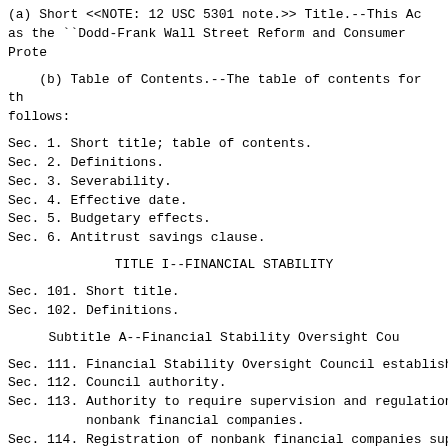(a) Short <<NOTE: 12 USC 5301 note.>> Title.--This Ac as the ``Dodd-Frank Wall Street Reform and Consumer Prote
(b) Table of Contents.--The table of contents for th follows:
Sec. 1. Short title; table of contents.
Sec. 2. Definitions.
Sec. 3. Severability.
Sec. 4. Effective date.
Sec. 5. Budgetary effects.
Sec. 6. Antitrust savings clause.
TITLE I--FINANCIAL STABILITY
Sec. 101. Short title.
Sec. 102. Definitions.
Subtitle A--Financial Stability Oversight Cou
Sec. 111. Financial Stability Oversight Council establish
Sec. 112. Council authority.
Sec. 113. Authority to require supervision and regulation
          nonbank financial companies.
Sec. 114. Registration of nonbank financial companies sup
          Board of Governors.
Sec. 115. Enhanced supervision and prudential standards f
          financial companies supervised by the Board of
          certain bank holding companies.
Sec. 116. Reports.